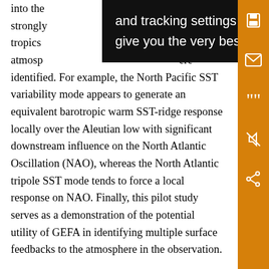into the strongly the tropics atmosphere ere identified. For example, the North Pacific SST variability mode appears to generate an equivalent barotropic warm SST-ridge response locally over the Aleutian low with significant downstream influence on the North Atlantic Oscillation (NAO), whereas the North Atlantic tripole SST mode tends to force a local response on NAO. Finally, this pilot study serves as a demonstration of the potential utility of GEFA in identifying multiple surface feedbacks to the atmosphere in the observation.
and tracking settings to store information that help give you the very best browsing experience.
Corresponding author address: Z. Liu, 1225 W. Dayton St., Madison, WI 53706. Email: zliu3@wisc.edu